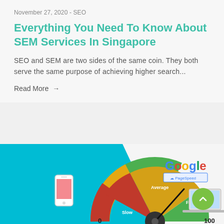November 27, 2020 - SEO
Everything You Need To Know About SEM Services In Singapore
SEO and SEM are two sides of the same coin. They both serve the same purpose of achieving higher search...
Read More →
[Figure (infographic): Google PageSpeed infographic showing a speedometer/gauge with sections labeled Slow, Average, Fast, with values 0 and 100, mobile phone and laptop illustrations, cyan/blue background with Google PageSpeed logo]